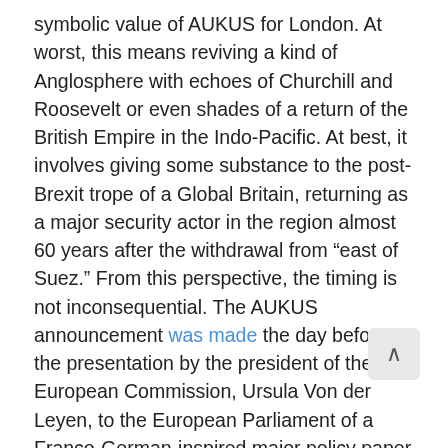symbolic value of AUKUS for London. At worst, this means reviving a kind of Anglosphere with echoes of Churchill and Roosevelt or even shades of a return of the British Empire in the Indo-Pacific. At best, it involves giving some substance to the post-Brexit trope of a Global Britain, returning as a major security actor in the region almost 60 years after the withdrawal from “east of Suez.” From this perspective, the timing is not inconsequential. The AUKUS announcement was made the day before the presentation by the president of the European Commission, Ursula Von der Leyen, to the European Parliament of a Franco-German-inspired major policy paper on the EU Strategy for the Indo-Pacific.
The timing of the announcement may have been prompted by London to eclipse any European foreign policy grandstanding. If so, it was quite effective: the EU St went largely unreported. However, for Canberra it seems